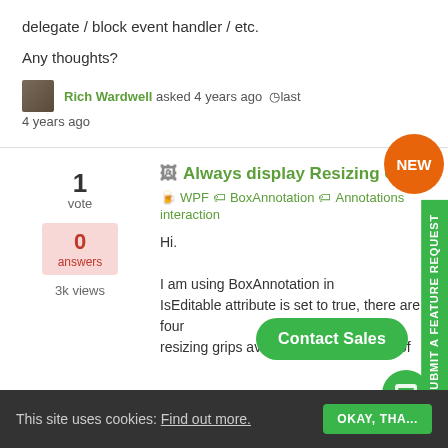delegate / block event handler / etc.
Any thoughts?
Rich Wardwell asked 4 years ago  last 4 years ago
Always display Resizing Grips
WPF   BoxAnnotation   Annotations   interaction
Hi.

I am using BoxAnnotation in... IsEditable attribute is set to true, there are four resizing grips available on the corners of
This site uses cookies: Find out more.   OKAY, THA...